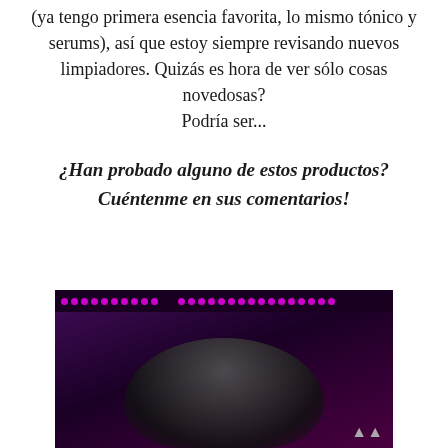(ya tengo primera esencia favorita, lo mismo tónico y serums), así que estoy siempre revisando nuevos limpiadores. Quizás es hora de ver sólo cosas novedosas? Podría ser...
¿Han probado alguno de estos productos? Cuéntenme en sus comentarios!
[Figure (photo): A dark concert or event scene with purple/pink LED lights across the top and a person silhouetted against the dark background with their hand raised.]